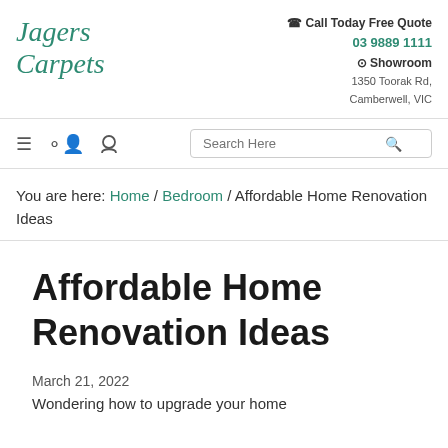Jagers Carpets | Call Today Free Quote 03 9889 1111 | Showroom 1350 Toorak Rd, Camberwell, VIC
You are here: Home / Bedroom / Affordable Home Renovation Ideas
Affordable Home Renovation Ideas
March 21, 2022
Wondering how to upgrade your home